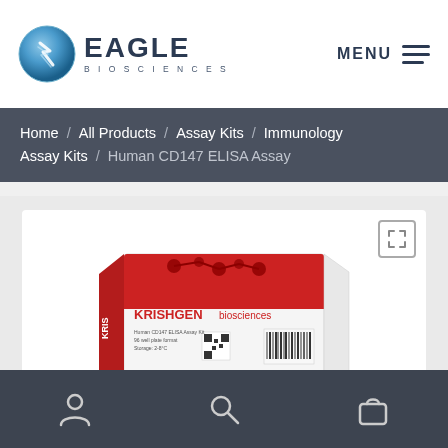[Figure (logo): Eagle Biosciences logo with blue circular globe icon and company name]
MENU
Home / All Products / Assay Kits / Immunology Assay Kits / Human CD147 ELISA Assay
[Figure (photo): KRISHGEN Biosciences ELISA assay kit box — red and white packaging with molecular diagram graphic on top]
[Figure (infographic): Bottom navigation bar with person icon, search icon, and shopping bag icon]